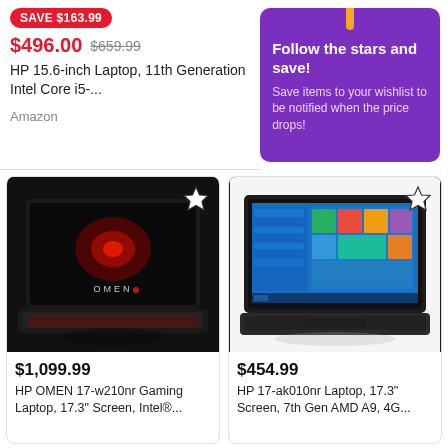SAVE $163.99
$496.00  $659.99
HP 15.6-inch Laptop, 11th Generation Intel Core i5-...
Amazon
Follow the stars and save! Save items to your wishlist to be notified when the price drops!
[Figure (photo): HP OMEN gaming laptop with red backlit keyboard and OMEN logo on screen, shown in dark background]
[Figure (photo): HP 17 laptop showing Windows 10 desktop on screen, dark chassis]
$1,099.99
HP OMEN 17-w210nr Gaming Laptop, 17.3" Screen, Intel®...
$454.99
HP 17-ak010nr Laptop, 17.3" Screen, 7th Gen AMD A9, 4G...